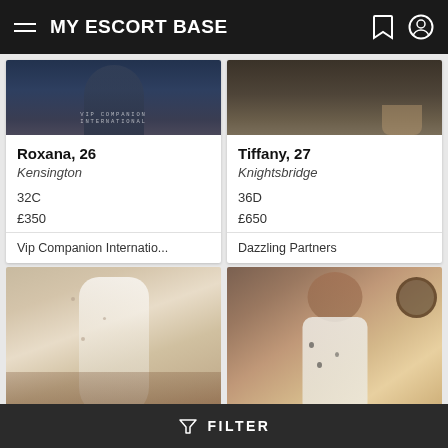MY ESCORT BASE
[Figure (screenshot): Roxana profile card with photo showing woman in dark blue/navy background with 'VIP COMPANION INTERNATIONAL' text]
Roxana, 26
Kensington
32C
£350
Vip Companion Internatio...
[Figure (screenshot): Tiffany profile card with photo showing woman's legs in warm-toned background]
Tiffany, 27
Knightsbridge
36D
£650
Dazzling Partners
[Figure (photo): Woman in floral dress sitting on bench, warm sepia tones]
[Figure (photo): Brunette woman in white dress with dark spots, indoor background]
FILTER